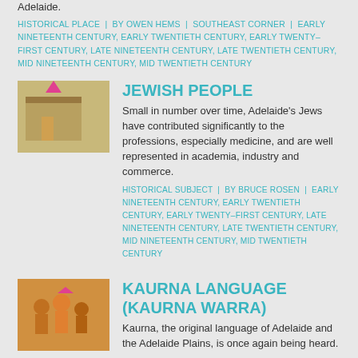Adelaide.
HISTORICAL PLACE | BY OWEN HEMS | SOUTHEAST CORNER | EARLY NINETEENTH CENTURY, EARLY TWENTIETH CENTURY, EARLY TWENTY–FIRST CENTURY, LATE NINETEENTH CENTURY, LATE TWENTIETH CENTURY, MID NINETEENTH CENTURY, MID TWENTIETH CENTURY
[Figure (photo): Thumbnail image of a historical building, sepia toned]
JEWISH PEOPLE
Small in number over time, Adelaide's Jews have contributed significantly to the professions, especially medicine, and are well represented in academia, industry and commerce.
HISTORICAL SUBJECT | BY BRUCE ROSEN | EARLY NINETEENTH CENTURY, EARLY TWENTIETH CENTURY, EARLY TWENTY–FIRST CENTURY, LATE NINETEENTH CENTURY, LATE TWENTIETH CENTURY, MID NINETEENTH CENTURY, MID TWENTIETH CENTURY
[Figure (photo): Thumbnail image of a group of people outdoors]
KAURNA LANGUAGE (KAURNA WARRA)
Kaurna, the original language of Adelaide and the Adelaide Plains, is once again being heard.
HISTORICAL SUBJECT | BY ROB AMERY | ABORIGINAL COUNTRY PRE-CONTACT, EARLY NINETEENTH CENTURY, EARLY TWENTIETH CENTURY, EARLY TWENTY–FIRST CENTURY, LATE NINETEENTH CENTURY, LATE TWENTIETH CENTURY, MID NINETEENTH CENTURY